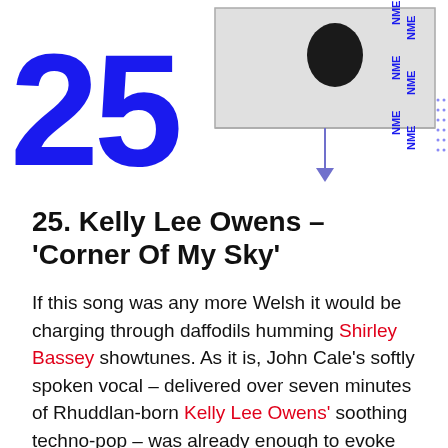[Figure (illustration): Top graphic showing bold blue '25' number on left, a rectangular image frame with a dark circular shape in center and a downward arrow below it, and NME logo repeated vertically on the right side with blue dot grid pattern]
25. Kelly Lee Owens – 'Corner Of My Sky'
If this song was any more Welsh it would be charging through daffodils humming Shirley Bassey showtunes. As it is, John Cale's softly spoken vocal – delivered over seven minutes of Rhuddlan-born Kelly Lee Owens' soothing techno-pop – was already enough to evoke images of lush, green valleys and damp country walks. Add to that a bonkers video in which Michael Sheen battles a